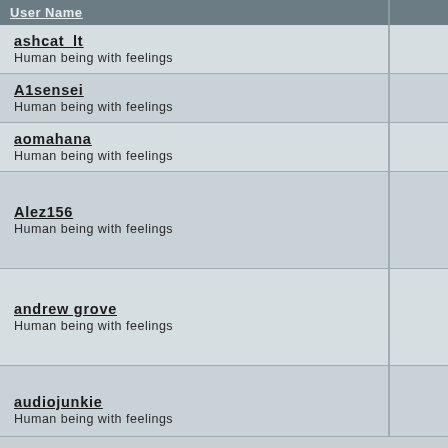| User Name |  |
| --- | --- |
| ashcat_lt
Human being with feelings |  |
| A1sensei
Human being with feelings |  |
| aomahana
Human being with feelings |  |
| Alez156
Human being with feelings |  |
| andrew grove
Human being with feelings |  |
| audiojunkie
Human being with feelings |  |